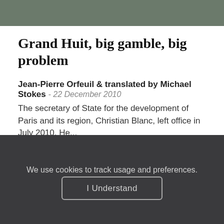[Figure (other): Olive/muted green header bar background image]
Grand Huit, big gamble, big problem
Jean-Pierre Orfeuil & translated by Michael Stokes - 22 December 2010
The secretary of State for the development of Paris and its region, Christian Blanc, left office in July 2010. He...
We use cookies to track usage and preferences. I Understand